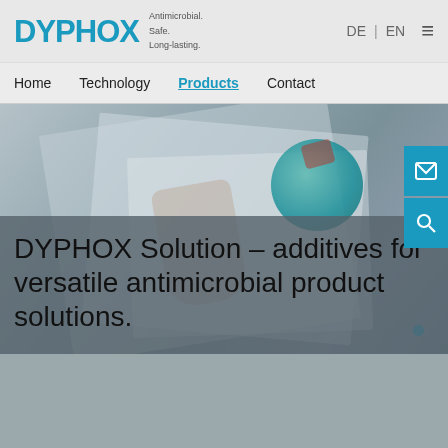DYPHOX — Antimicrobial. Safe. Long-lasting. | DE | EN
Home  Technology  Products  Contact
[Figure (screenshot): Screenshot of DYPHOX website hero section showing a person holding papers near a teal globe object, overlaid with teal dot indicator and side email/search buttons]
DYPHOX Solution – additives for versatile antimicrobial product solutions.